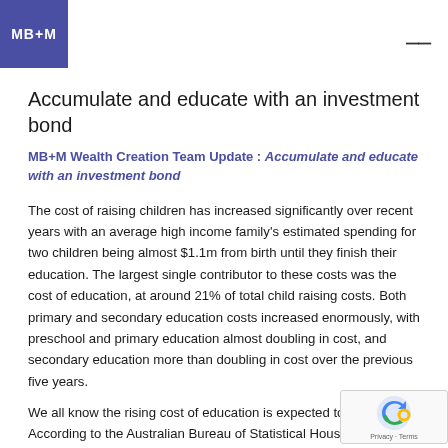MB+M
Accumulate and educate with an investment bond
MB+M Wealth Creation Team Update : Accumulate and educate with an investment bond
The cost of raising children has increased significantly over recent years with an average high income family's estimated spending for two children being almost $1.1m from birth until they finish their education. The largest single contributor to these costs was the cost of education, at around 21% of total child raising costs. Both primary and secondary education costs increased enormously, with preschool and primary education almost doubling in cost, and secondary education more than doubling in cost over the previous five years.
We all know the rising cost of education is expected to cont... According to the Australian Bureau of Statistical Household...